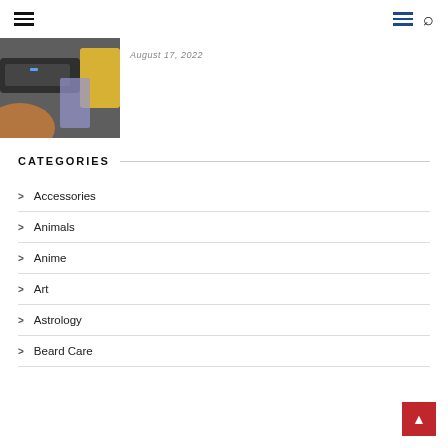Navigation header with hamburger menus and search icon
[Figure (photo): Partial product image showing a device on a colorful background, cropped at top-left]
August 17, 2022
CATEGORIES
Accessories
Animals
Anime
Art
Astrology
Beard Care